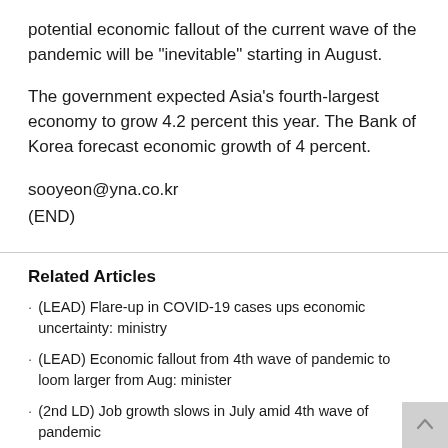potential economic fallout of the current wave of the pandemic will be "inevitable" starting in August.
The government expected Asia's fourth-largest economy to grow 4.2 percent this year. The Bank of Korea forecast economic growth of 4 percent.
sooyeon@yna.co.kr
(END)
Related Articles
(LEAD) Flare-up in COVID-19 cases ups economic uncertainty: ministry
(LEAD) Economic fallout from 4th wave of pandemic to loom larger from Aug: minister
(2nd LD) Job growth slows in July amid 4th wave of pandemic